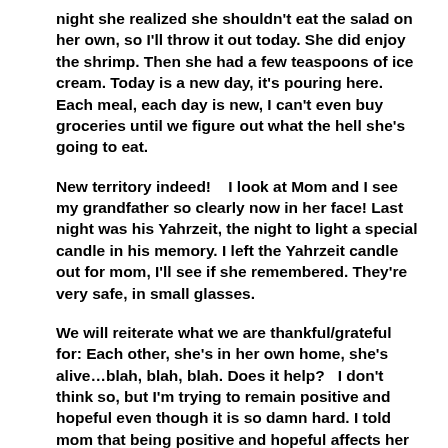night she realized she shouldn't eat the salad on her own, so I'll throw it out today. She did enjoy the shrimp. Then she had a few teaspoons of ice cream. Today is a new day, it's pouring here. Each meal, each day is new, I can't even buy groceries until we figure out what the hell she's going to eat.
New territory indeed!    I look at Mom and I see my grandfather so clearly now in her face! Last night was his Yahrzeit, the night to light a special candle in his memory. I left the Yahrzeit candle out for mom, I'll see if she remembered. They're very safe, in small glasses.
We will reiterate what we are thankful/grateful for: Each other, she's in her own home, she's alive…blah, blah, blah. Does it help?   I don't think so, but I'm trying to remain positive and hopeful even though it is so damn hard. I told mom that being positive and hopeful affects her body chemistry and brain and perhaps that impacts the illness as well.